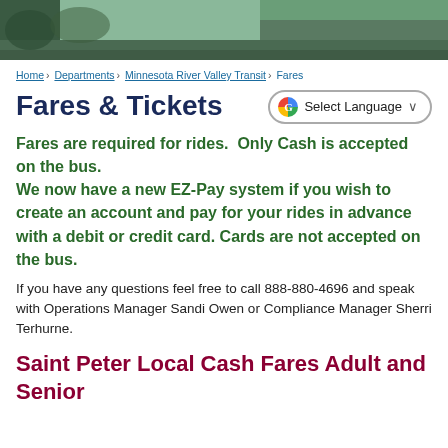[Figure (photo): Outdoor nature/river landscape photo strip at top of page]
Home › Departments › Minnesota River Valley Transit › Fares
Fares & Tickets
Fares are required for rides.  Only Cash is accepted on the bus.
We now have a new EZ-Pay system if you wish to create an account and pay for your rides in advance with a debit or credit card. Cards are not accepted on the bus.
If you have any questions feel free to call 888-880-4696 and speak with Operations Manager Sandi Owen or Compliance Manager Sherri Terhurne.
Saint Peter Local Cash Fares Adult and Senior